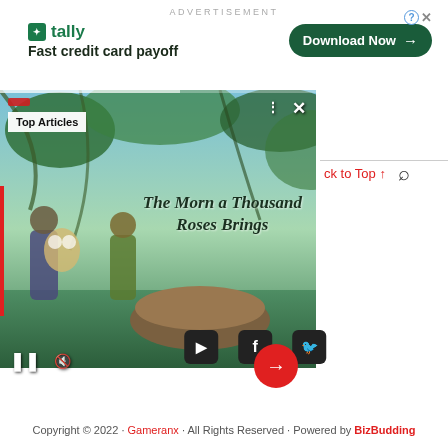ADVERTISEMENT
[Figure (screenshot): Tally app advertisement banner with logo, 'Fast credit card payoff' tagline, and 'Download Now' button]
[Figure (screenshot): Video player showing animated game scene titled 'The Morn a Thousand Roses Brings' with Top Articles badge, playback controls, pause button, mute button, red arrow button, and red progress bar]
↑ Back to Top ↑
[Figure (screenshot): Social media icons for YouTube, Facebook, and Twitter]
Copyright © 2022 · Gameranx · All Rights Reserved · Powered by BizBudding